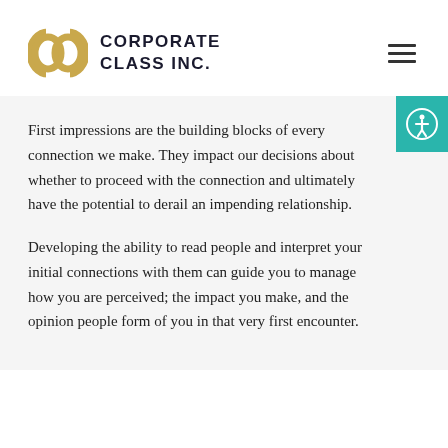[Figure (logo): Corporate Class Inc. logo with golden interlocking C shapes and bold text CORPORATE CLASS INC.]
First impressions are the building blocks of every connection we make. They impact our decisions about whether to proceed with the connection and ultimately have the potential to derail an impending relationship.
Developing the ability to read people and interpret your initial connections with them can guide you to manage how you are perceived; the impact you make, and the opinion people form of you in that very first encounter.